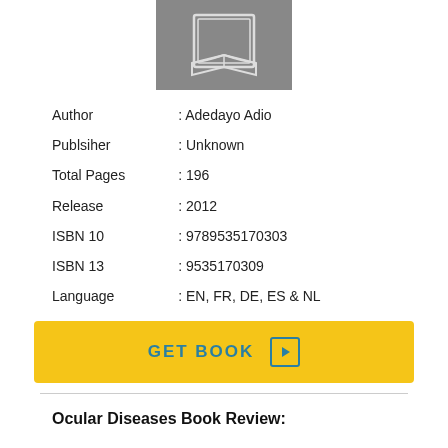[Figure (illustration): Book cover placeholder image with a gray background and an open book icon in white outline]
| Author | : Adedayo Adio |
| Publsiher | : Unknown |
| Total Pages | : 196 |
| Release | : 2012 |
| ISBN 10 | : 9789535170303 |
| ISBN 13 | : 9535170309 |
| Language | : EN, FR, DE, ES & NL |
GET BOOK
Ocular Diseases Book Review: